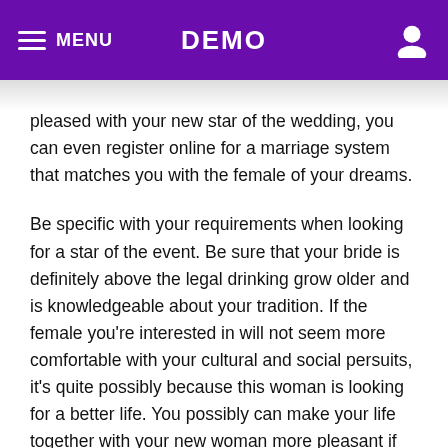MENU   DEMO
pleased with your new star of the wedding, you can even register online for a marriage system that matches you with the female of your dreams.
Be specific with your requirements when looking for a star of the event. Be sure that your bride is definitely above the legal drinking grow older and is knowledgeable about your tradition. If the female you're interested in will not seem more comfortable with your cultural and social persuits, it's quite possibly because this woman is looking for a better life. You possibly can make your life together with your new woman more pleasant if you occur to decide on the right man. You can even stipulate the country from the wedding party.
One of the advantages of submit order birdes-to-be is the